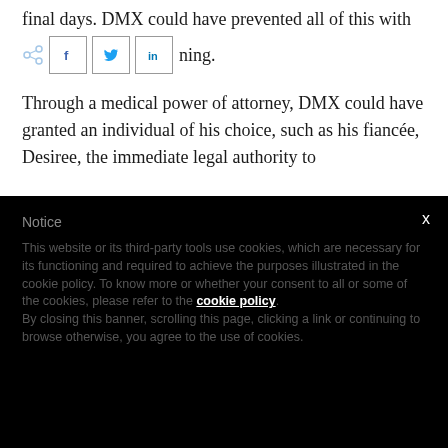final days. DMX could have prevented all of this with
[Figure (screenshot): Social share buttons row: share icon, Facebook button (f), Twitter button (bird icon), LinkedIn button (in), followed by partial text 'ning.']
Through a medical power of attorney, DMX could have granted an individual of his choice, such as his fiancée, Desiree, the immediate legal authority to
Notice

This website or its third-party tools use cookies, which are necessary for its functioning and required to achieve the purposes illustrated in the cookie policy. To know more or whether your consent to all or some of the cookies, please refer to the cookie policy.
By closing this banner, scrolling this page, clicking a link or continuing to browse otherwise, you agree to the use of cookies.